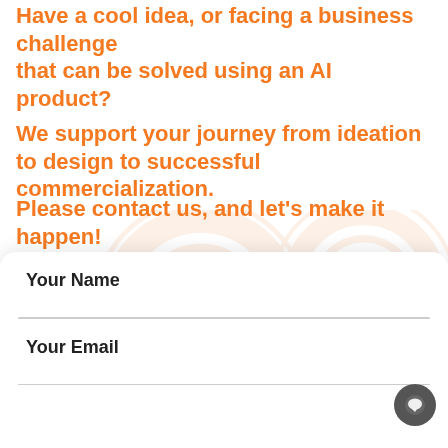Have a cool idea, or facing a business challenge that can be solved using an AI product?
We support your journey from ideation to design to successful commercialization.
Please contact us, and let’s make it happen!
[Figure (illustration): Faint orange watermark/background pattern with circular/gear-like shapes]
Free Consultation
| Your Name |
| Your Email |